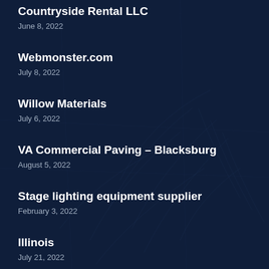Countryside Rental LLC
June 8, 2022
Webmonster.com
July 8, 2022
Willow Materials
July 6, 2022
VA Commercial Paving – Blacksburg
August 5, 2022
Stage lighting equipment supplier
February 3, 2022
Illinois
July 21, 2022